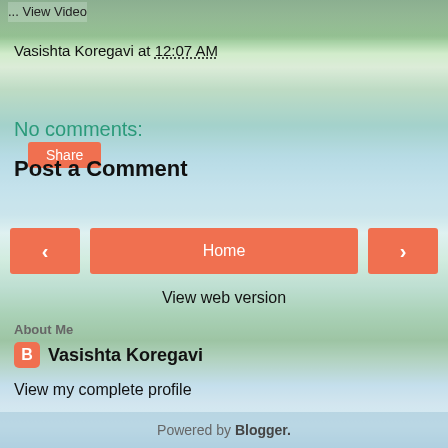... View Video
Vasishta Koregavi at 12:07 AM
Share
No comments:
Post a Comment
‹  Home  ›
View web version
About Me
Vasishta Koregavi
View my complete profile
Powered by Blogger.